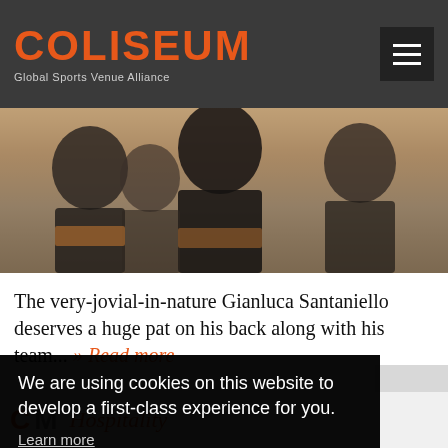COLISEUM — Global Sports Venue Alliance
[Figure (photo): Conference audience seen from behind, people seated in rows]
The very-jovial-in-nature Gianluca Santaniello deserves a huge pat on his back along with his team... » Read more
We are using cookies on this website to develop a first-class experience for you.
Learn more
Ok
[Figure (logo): Partial logo and Hospitality text at bottom]